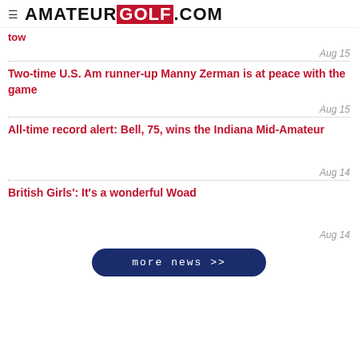AMATEUR GOLF .COM
tow
Aug 15
Two-time U.S. Am runner-up Manny Zerman is at peace with the game
Aug 15
All-time record alert: Bell, 75, wins the Indiana Mid-Amateur
Aug 14
British Girls': It's a wonderful Woad
Aug 14
more news >>